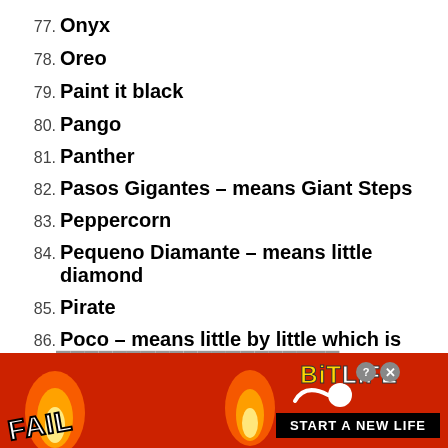77. Onyx
78. Oreo
79. Paint it black
80. Pango
81. Panther
82. Pasos Gigantes – means Giant Steps
83. Peppercorn
84. Pequeno Diamante – means little diamond
85. Pirate
86. Poco – means little by little which is
[Figure (screenshot): BitLife advertisement banner with 'FAIL' text, cartoon character, flames, and 'START A NEW LIFE' button]